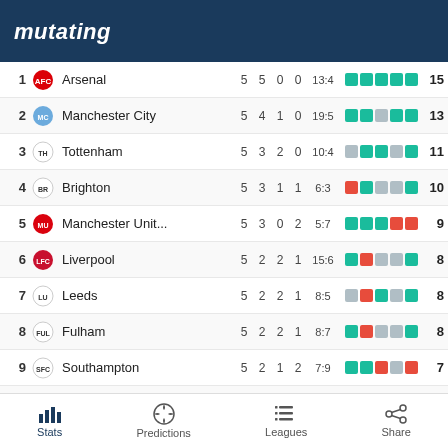mutating
| # | Club | P | W | D | L | Goals | Form | Pts |
| --- | --- | --- | --- | --- | --- | --- | --- | --- |
| 1 | Arsenal | 5 | 5 | 0 | 0 | 13:4 | W W W W W | 15 |
| 2 | Manchester City | 5 | 4 | 1 | 0 | 19:5 | W W D W W | 13 |
| 3 | Tottenham | 5 | 3 | 2 | 0 | 10:4 | D W W D W | 11 |
| 4 | Brighton | 5 | 3 | 1 | 1 | 6:3 | L W W D W | 10 |
| 5 | Manchester Unit... | 5 | 3 | 0 | 2 | 5:7 | W W W L L | 9 |
| 6 | Liverpool | 5 | 2 | 2 | 1 | 15:6 | W W L D D | 8 |
| 7 | Leeds | 5 | 2 | 2 | 1 | 8:5 | D L W D W | 8 |
| 8 | Fulham | 5 | 2 | 2 | 1 | 8:7 | W L W D D | 8 |
| 9 | Southampton | 5 | 2 | 1 | 2 | 7:9 | W W L L L | 7 |
| 10 | Chelsea | 5 | 2 | 1 | 2 | 6:8 | L W L D W | 7 |
Stats   Predictions   Leagues   Share